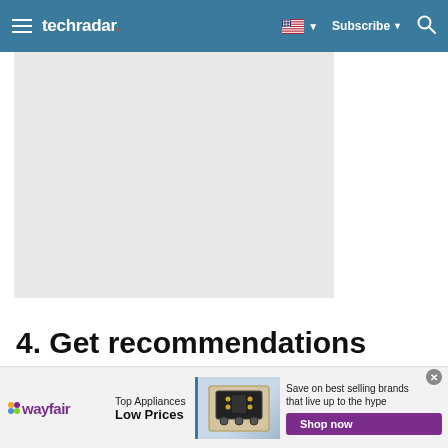techradar | Subscribe | Search
[Figure (other): Gray placeholder image area]
4. Get recommendations
[Figure (other): Wayfair advertisement banner: Top Appliances Low Prices, Save on best selling brands that live up to the hype, Shop now button]